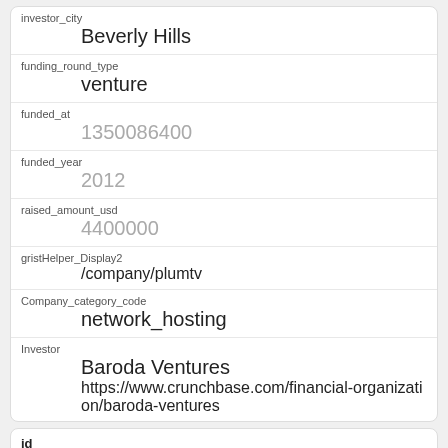| Field | Value |
| --- | --- |
| investor_city | Beverly Hills |
| funding_round_type | venture |
| funded_at | 1350086400 |
| funded_year | 2012 |
| raised_amount_usd | 4400000 |
| gristHelper_Display2 | /company/plumtv |
| Company_category_code | network_hosting |
| Investor | Baroda Ventures
https://www.crunchbase.com/financial-organization/baroda-ventures |
id